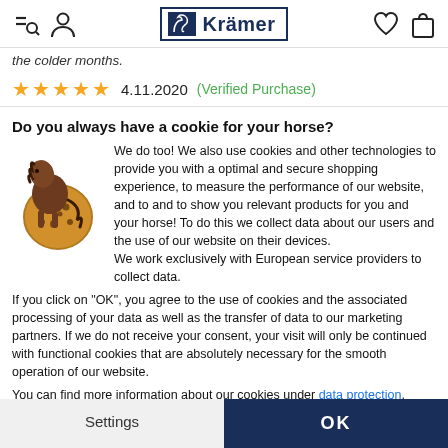Krämer [logo with navigation icons]
the colder months.
★★★★★  4.11.2020  (Verified Purchase)
Do you always have a cookie for your horse?
[Figure (illustration): Cartoon horse hugging a large chocolate chip cookie]
We do too! We also use cookies and other technologies to provide you with a optimal and secure shopping experience, to measure the performance of our website, and to and to show you relevant products for you and your horse! To do this we collect data about our users and the use of our website on their devices.
We work exclusively with European service providers to collect data.
If you click on "OK", you agree to the use of cookies and the associated processing of your data as well as the transfer of data to our marketing partners. If we do not receive your consent, your visit will only be continued with functional cookies that are absolutely necessary for the smooth operation of our website.
You can find more information about our cookies under data protection.
Settings
OK